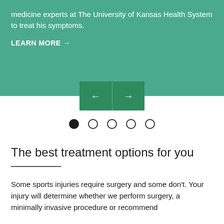medicine experts at The University of Kansas Health System to treat his symptoms.
LEARN MORE →
[Figure (screenshot): Navigation arrows: left arrow button and right arrow button in dark green boxes]
[Figure (other): Carousel dot indicators: 5 dots, first dot filled black, remaining 4 empty circles]
The best treatment options for you
Some sports injuries require surgery and some don't. Your injury will determine whether we perform surgery, a minimally invasive procedure or recommend